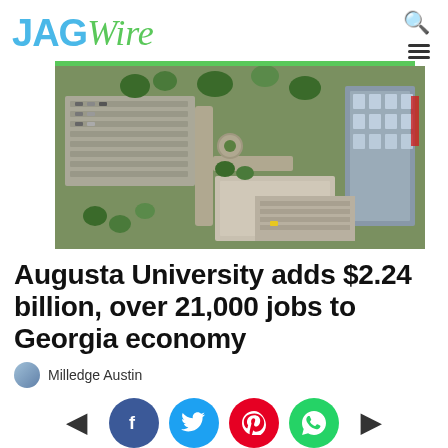JAGWire
[Figure (photo): Aerial drone photograph of Augusta University campus showing buildings, parking lots, and trees from above]
Augusta University adds $2.24 billion, over 21,000 jobs to Georgia economy
Milledge Austin